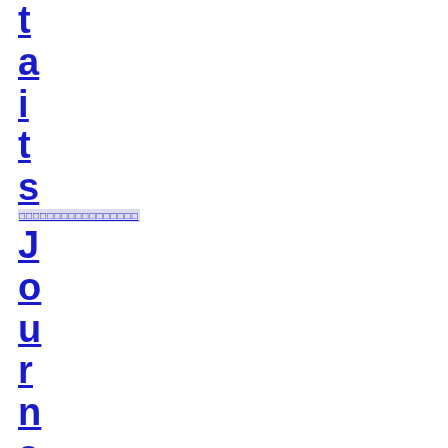t
a
i
t
s
□□□□□□□□□□□□□□□□□
J
o
u
r
n
a
l
□□□□□□□□□□□□□□□□□□□
C
i
t
i
e
s